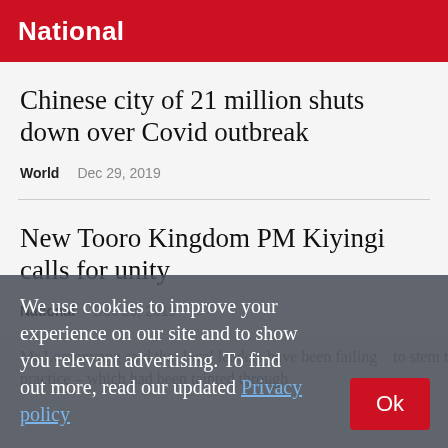National
Chinese city of 21 million shuts down over Covid outbreak
World    Dec 29, 2019
New Tooro Kingdom PM Kiyingi calls for unity
National    Dec 29, 2019
We use cookies to improve your experience on our site and to show you relevant advertising. To find out more, read our updated Privacy policy
Mr Lomonyang said that local leaders have been failing ... to stem the practice – which had been tainted through